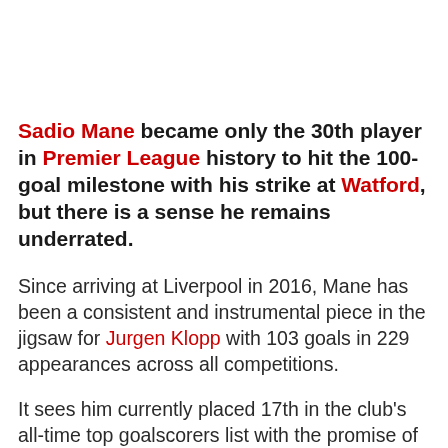Sadio Mane became only the 30th player in Premier League history to hit the 100-goal milestone with his strike at Watford, but there is a sense he remains underrated.
Since arriving at Liverpool in 2016, Mane has been a consistent and instrumental piece in the jigsaw for Jurgen Klopp with 103 goals in 229 appearances across all competitions.
It sees him currently placed 17th in the club's all-time top goalscorers list with the promise of